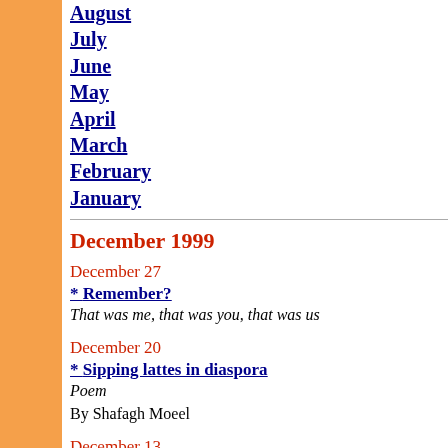August
July
June
May
April
March
February
January
December 1999
December 27
* Remember?
That was me, that was you, that was us
December 20
* Sipping lattes in diaspora
Poem
By Shafagh Moeel
December 13
* Young democrats
Khatami addresses increasingly outspoken students